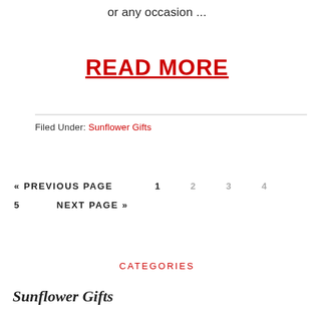or any occasion ...
READ MORE
Filed Under: Sunflower Gifts
« PREVIOUS PAGE   1   2   3   4
5   NEXT PAGE »
CATEGORIES
Sunflower Gifts